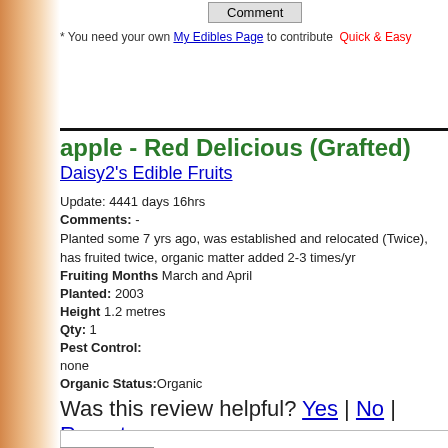Comment (button at top)
* You need your own My Edibles Page to contribute   Quick & Easy
apple - Red Delicious (Grafted)
Daisy2's Edible Fruits
Update: 4441 days 16hrs
Comments: -
Planted some 7 yrs ago, was established and relocated (Twice), has fruited twice, organic matter added 2-3 times/yr
Fruiting Months March and April
Planted: 2003
Height 1.2 metres
Qty: 1
Pest Control:
none
Organic Status:Organic
Was this review helpful? Yes | No | Report
Comment (button at bottom)